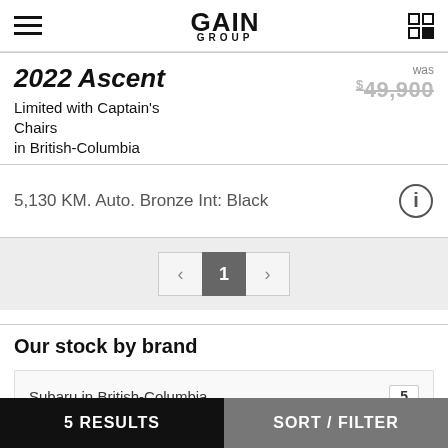GAIN GROUP
2022 Ascent
Limited with Captain's Chairs
in British-Columbia
was $49,900
5,130 KM. Auto. Bronze Int: Black
1
Our stock by brand
Subaru in British-Columbia	5
5 RESULTS	SORT / FILTER